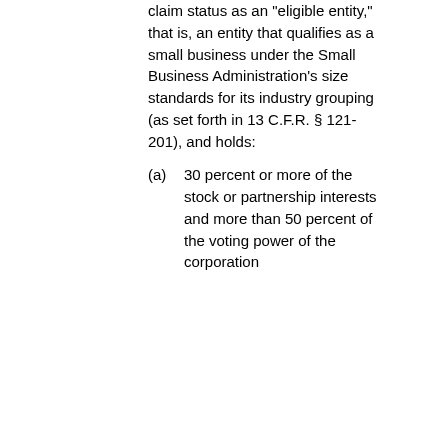claim status as an "eligible entity," that is, an entity that qualifies as a small business under the Small Business Administration's size standards for its industry grouping (as set forth in 13 C.F.R. § 121-201), and holds:
(a) 30 percent or more of the stock or partnership interests and more than 50 percent of the voting power of the corporation